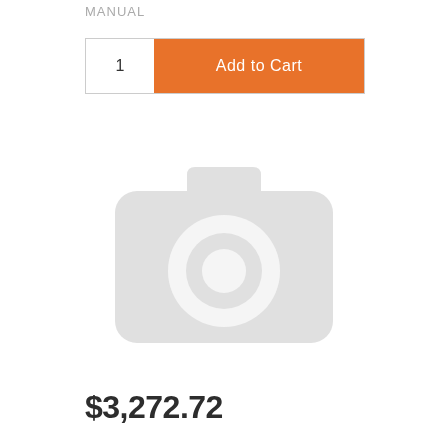MANUAL
[Figure (screenshot): E-commerce UI showing a quantity field with value 1 and an orange Add to Cart button]
[Figure (photo): Placeholder image icon showing a camera silhouette on light grey background]
$3,272.72